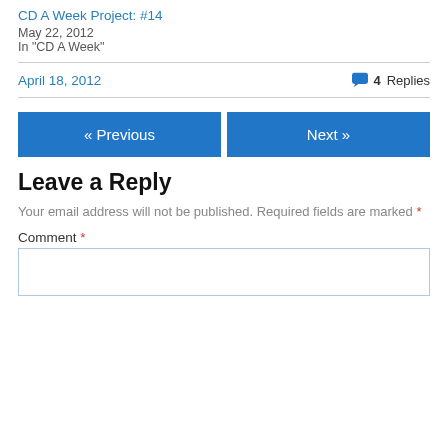CD A Week Project: #14
May 22, 2012
In "CD A Week"
April 18, 2012
4 Replies
« Previous
Next »
Leave a Reply
Your email address will not be published. Required fields are marked *
Comment *